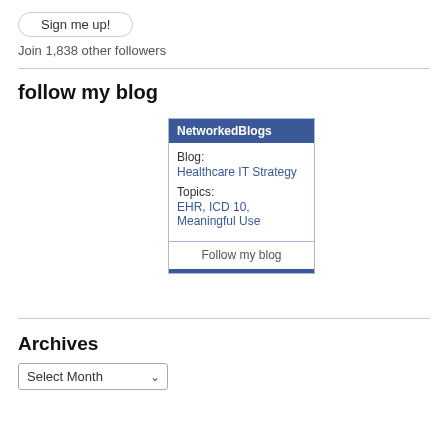Sign me up!
Join 1,838 other followers
follow my blog
[Figure (other): NetworkedBlogs widget showing Blog: Healthcare IT Strategy, Topics: EHR, ICD 10, Meaningful Use, with a Follow my blog button]
Archives
Select Month